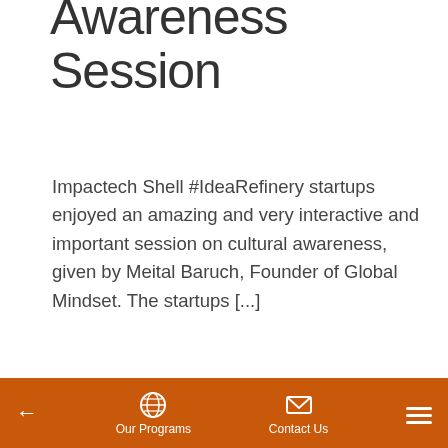Awareness Session
Impactech Shell #IdeaRefinery startups enjoyed an amazing and very interactive and important session on cultural awareness, given by Meital Baruch, Founder of Global Mindset. The startups [...]
Read more
[Figure (photo): Interior of a large event hall with wooden perforated wall panels, ceiling lights, and people gathered; a sign reading '2nd RUNNER UP' is visible]
← Our Programs   Contact Us   ☰